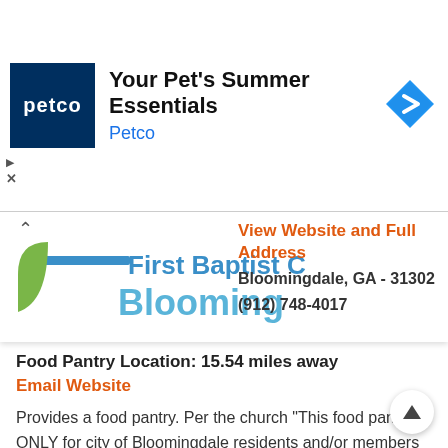[Figure (screenshot): Petco advertisement banner with logo, 'Your Pet's Summer Essentials' headline, and blue navigation arrow icon]
[Figure (logo): First Baptist Church Bloomingdale partial logo with blue bar and teal 'Blooming' text and green leaf shape]
View Website and Full Address
Bloomingdale, GA - 31302
(912) 748-4017
Food Pantry Location: 15.54 miles away
Email Website
Provides a food pantry. Per the church "This food pantry is ONLY for city of Bloomingdale residents and/or members of churches within the city of Bloomingdale". Documentation Required: Proof of residence or lease, social security card. Pantry Hours: 1st and 3rd Thursday,